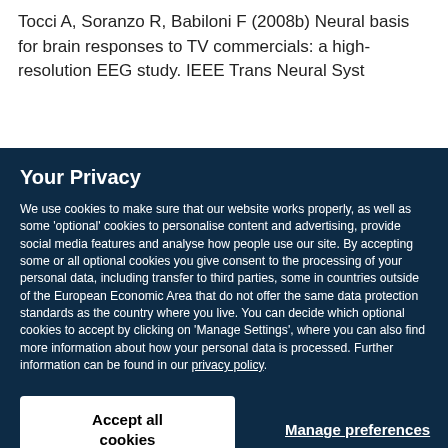Tocci A, Soranzo R, Babiloni F (2008b) Neural basis for brain responses to TV commercials: a high-resolution EEG study. IEEE Trans Neural Syst
Your Privacy
We use cookies to make sure that our website works properly, as well as some ‘optional’ cookies to personalise content and advertising, provide social media features and analyse how people use our site. By accepting some or all optional cookies you give consent to the processing of your personal data, including transfer to third parties, some in countries outside of the European Economic Area that do not offer the same data protection standards as the country where you live. You can decide which optional cookies to accept by clicking on ‘Manage Settings’, where you can also find more information about how your personal data is processed. Further information can be found in our privacy policy.
Accept all cookies
Manage preferences